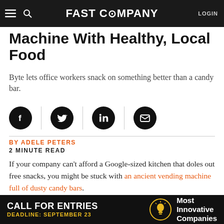FAST COMPANY  LOGIN
Machine With Healthy, Local Food
Byte lets office workers snack on something better than a candy bar.
[Figure (other): Social sharing icons: Facebook, Twitter, LinkedIn, Email]
BY ADELE PETERS
2 MINUTE READ
If your company can't afford a Google-sized kitchen that doles out free snacks, you might be stuck with an ancient vending machine full of dusty candy bars.
[Figure (other): Advertisement banner: CALL FOR ENTRIES — DEADLINE: SEPTEMBER 23 — Most Innovative Companies]